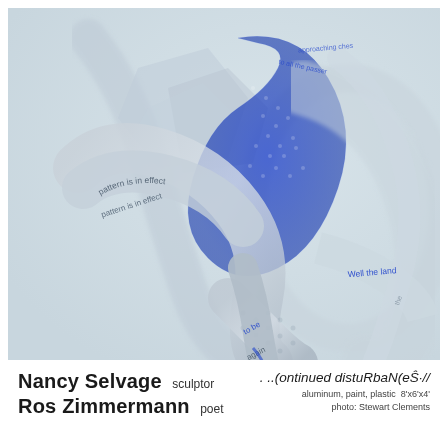[Figure (photo): Photograph of a sculpture made of aluminum, paint, and plastic. The sculpture consists of spiraling, ribbon-like metallic and blue elements intertwined, with text printed along the curved surfaces. The words visible include 'pattern is in effect', 'well the land', 'to be', and other partial phrases in blue and gray ink on metallic-looking curved bands. The background is a light blue-gray gradient.]
Nancy Selvage  sculptor     . ..(ontinued distuRbaN(eŜ·//
Ros Zimmermann  poet         aluminum, paint, plastic  8'x6'x4'
                              photo: Stewart Clements